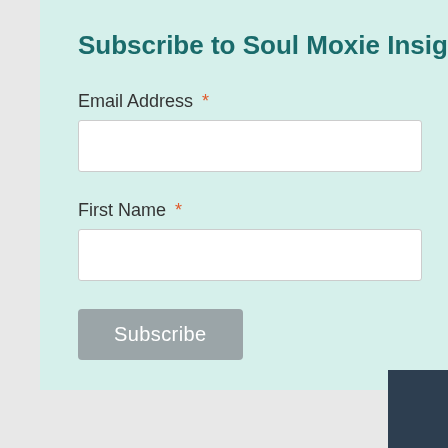Subscribe to Soul Moxie Insights
Email Address *
First Name *
Subscribe